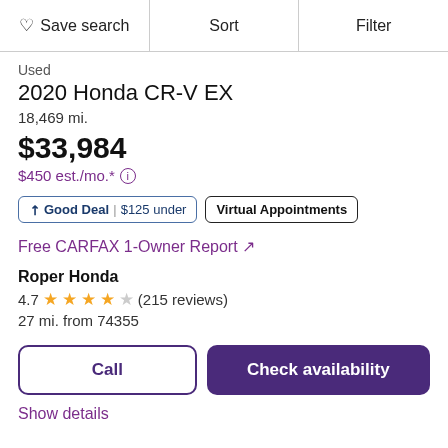Save search | Sort | Filter
Used
2020 Honda CR-V EX
18,469 mi.
$33,984
$450 est./mo.*
Good Deal | $125 under    Virtual Appointments
Free CARFAX 1-Owner Report ↗
Roper Honda
4.7 ★★★★☆ (215 reviews)
27 mi. from 74355
Call
Check availability
Show details